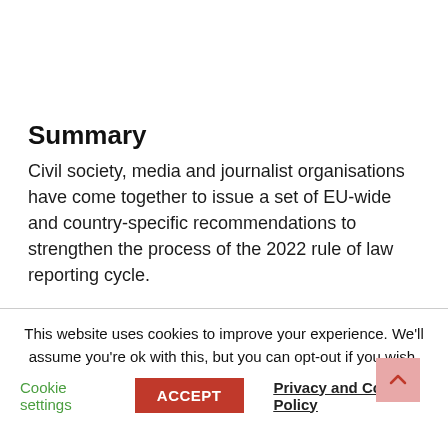Summary
Civil society, media and journalist organisations have come together to issue a set of EU-wide and country-specific recommendations to strengthen the process of the 2022 rule of law reporting cycle.
This website uses cookies to improve your experience. We'll assume you're ok with this, but you can opt-out if you wish.
Cookie settings | ACCEPT | Privacy and Cookie Policy